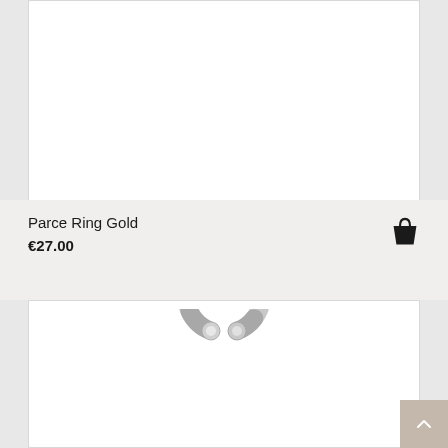[Figure (photo): White product card area at top (empty white rectangle with border)]
Parce Ring Gold
€27.00
[Figure (illustration): Silver open band ring (Parce Ring), shown centered on white background card]
[Figure (other): Shopping bag icon in black, used as add-to-cart button]